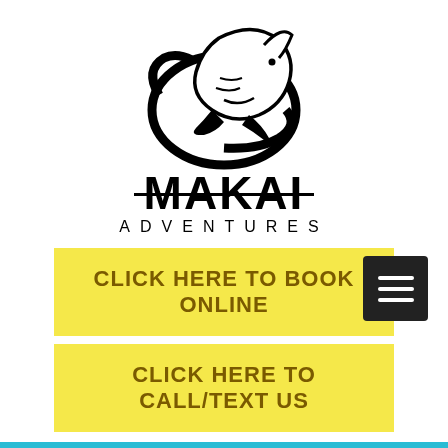[Figure (logo): Makai Adventures logo: a humpback whale leaping in a circular swoosh design above the brand name MAKAI ADVENTURES]
CLICK HERE TO BOOK ONLINE
CLICK HERE TO CALL/TEXT US
BLOG
Sign Up
All Posts